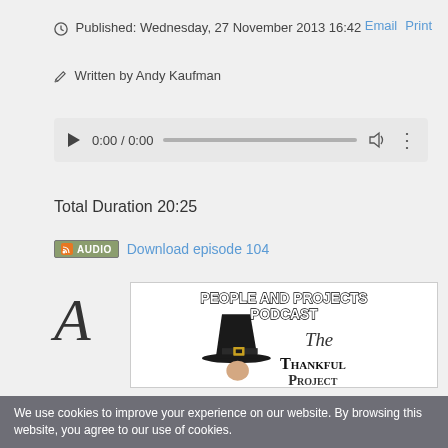Published: Wednesday, 27 November 2013 16:42
Written by Andy Kaufman
[Figure (other): Audio player with play button, timestamp 0:00 / 0:00, progress bar, volume and more icons]
Total Duration 20:25
[Figure (other): RSS Audio badge followed by Download episode 104 link]
[Figure (screenshot): People and Projects Podcast artwork featuring a pilgrim figure wearing a black hat with gold buckle, with text: PEOPLE AND PROJECTS PODCAST / The Thankful Project]
We use cookies to improve your experience on our website. By browsing this website, you agree to our use of cookies.